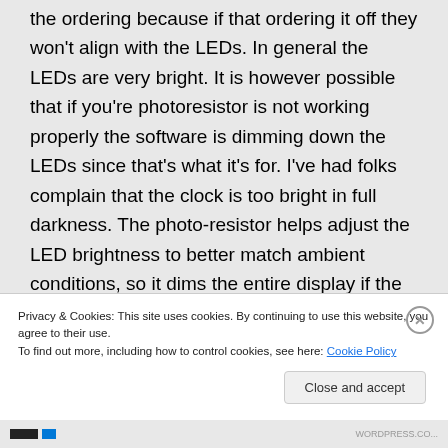the ordering because if that ordering it off they won't align with the LEDs. In general the LEDs are very bright. It is however possible that if you're photoresistor is not working properly the software is dimming down the LEDs since that's what it's for. I've had folks complain that the clock is too bright in full darkness. The photo-resistor helps adjust the LED brightness to better match ambient conditions, so it dims the entire display if the room is dark. I'm really
Privacy & Cookies: This site uses cookies. By continuing to use this website, you agree to their use.
To find out more, including how to control cookies, see here: Cookie Policy